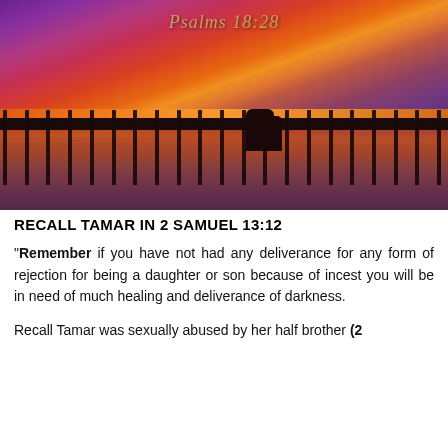[Figure (photo): Sunset photo of a long pier over water with vibrant orange, red, and purple sky. Two silhouetted figures stand beneath the pier on reflective wet sand. Text overlay reads 'Psalms 18:28' in italic gold lettering at the top.]
RECALL TAMAR IN 2 SAMUEL 13:12
"Remember if you have not had any deliverance for any form of rejection for being a daughter or son because of incest you will be in need of much healing and deliverance of darkness.
Recall Tamar was sexually abused by her half brother (2